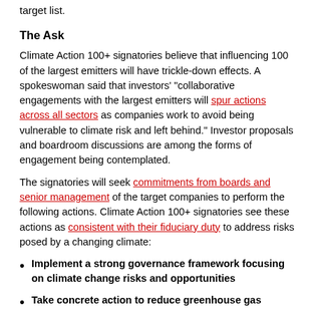target list.
The Ask
Climate Action 100+ signatories believe that influencing 100 of the largest emitters will have trickle-down effects. A spokeswoman said that investors' "collaborative engagements with the largest emitters will spur actions across all sectors as companies work to avoid being vulnerable to climate risk and left behind." Investor proposals and boardroom discussions are among the forms of engagement being contemplated.
The signatories will seek commitments from boards and senior management of the target companies to perform the following actions. Climate Action 100+ signatories see these actions as consistent with their fiduciary duty to address risks posed by a changing climate:
Implement a strong governance framework focusing on climate change risks and opportunities
Take concrete action to reduce greenhouse gas emissions consistent with the Paris Agreement and the